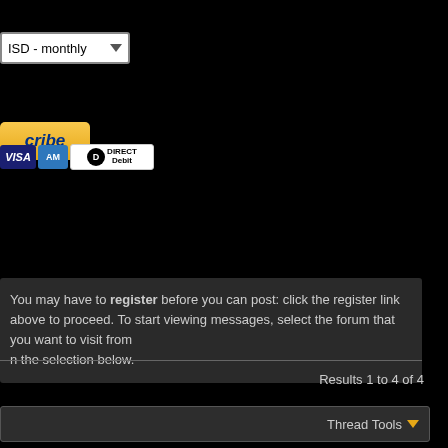[Figure (screenshot): Dropdown selector showing 'ISD - monthly' with a chevron arrow]
[Figure (screenshot): Yellow PayPal Subscribe button partially visible showing 'cribe']
[Figure (screenshot): Payment icons: Visa, Amex, Direct Debit logos]
You may have to register before you can post: click the register link above to proceed. To start viewing messages, select the forum that you want to visit from the selection below.
Results 1 to 4 of 4
Thread Tools
#1
und